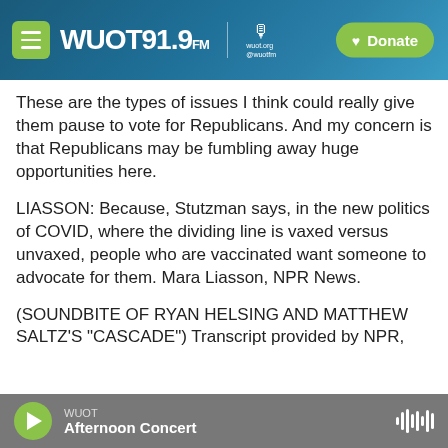[Figure (screenshot): WUOT 91.9 FM radio station website header with green hamburger menu button, WUOT 91.9 FM logo, microphone icon with wuot.org and @wuotfm text, and green Donate button on a dark teal/blue gradient background]
These are the types of issues I think could really give them pause to vote for Republicans. And my concern is that Republicans may be fumbling away huge opportunities here.
LIASSON: Because, Stutzman says, in the new politics of COVID, where the dividing line is vaxed versus unvaxed, people who are vaccinated want someone to advocate for them. Mara Liasson, NPR News.
(SOUNDBITE OF RYAN HELSING AND MATTHEW SALTZ'S "CASCADE") Transcript provided by NPR,
WUOT Afternoon Concert